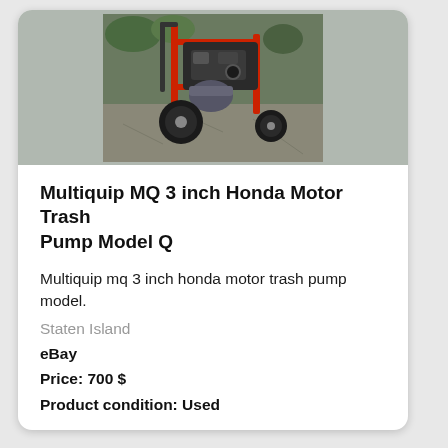[Figure (photo): Photograph of a Multiquip MQ 3 inch Honda Motor Trash Pump on a wheeled red frame, outdoors on pavement with vegetation in background.]
Multiquip MQ 3 inch Honda Motor Trash Pump Model Q
Multiquip mq 3 inch honda motor trash pump model.
Staten Island
eBay
Price: 700 $
Product condition: Used
See details